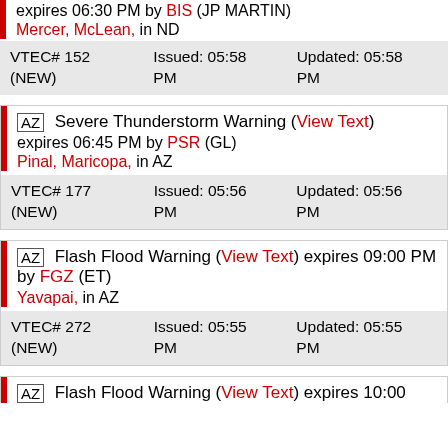expires 06:30 PM by BIS (JP MARTIN)
Mercer, McLean, in ND
| VTEC | Issued | Updated |
| --- | --- | --- |
| VTEC# 152 (NEW) | Issued: 05:58 PM | Updated: 05:58 PM |
AZ | Severe Thunderstorm Warning (View Text) expires 06:45 PM by PSR (GL)
Pinal, Maricopa, in AZ
| VTEC | Issued | Updated |
| --- | --- | --- |
| VTEC# 177 (NEW) | Issued: 05:56 PM | Updated: 05:56 PM |
AZ | Flash Flood Warning (View Text) expires 09:00 PM by FGZ (ET)
Yavapai, in AZ
| VTEC | Issued | Updated |
| --- | --- | --- |
| VTEC# 272 (NEW) | Issued: 05:55 PM | Updated: 05:55 PM |
AZ | Flash Flood Warning (View Text) expires 10:00